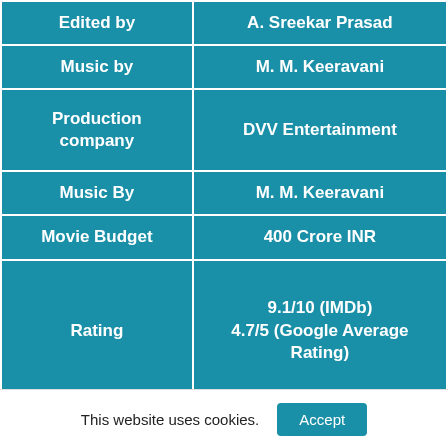| Label | Value |
| --- | --- |
| Edited by | A. Sreekar Prasad |
| Music by | M. M. Keeravani |
| Production company | DVV Entertainment |
| Music By | M. M. Keeravani |
| Movie Budget | 400 Crore INR |
| Rating | 9.1/10 (IMDb)
4.7/5 (Google Average Rating) |
This website uses cookies. Accept